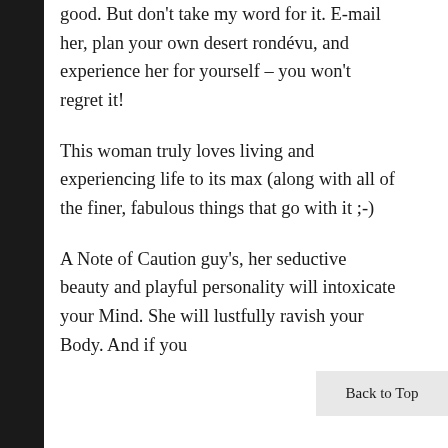good. But don't take my word for it. E-mail her, plan your own desert rondévu, and experience her for yourself – you won't regret it!
This woman truly loves living and experiencing life to its max (along with all of the finer, fabulous things that go with it ;-)
A Note of Caution guy's, her seductive beauty and playful personality will intoxicate your Mind. She will lustfully ravish your Body. And if you
Back to Top